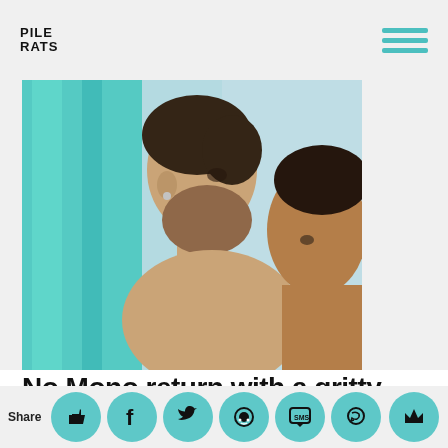PILE RATS
[Figure (photo): Two people, a bearded man and a woman, photographed closely together from the side with teal/turquoise tones in the background.]
No Mono return with a gritty curveball single,
Share